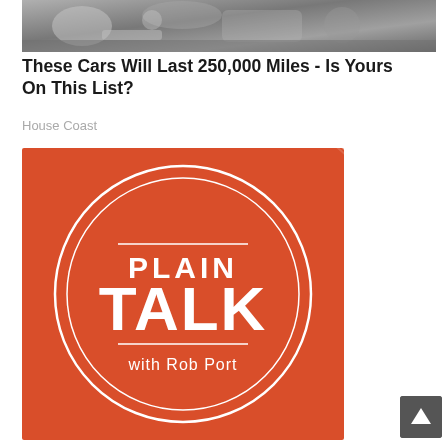[Figure (photo): Close-up photo of car engine mechanical parts, metallic components]
These Cars Will Last 250,000 Miles - Is Yours On This List?
House Coast
[Figure (logo): Plain Talk with Rob Port podcast logo - orange/red background with white circular design and text]